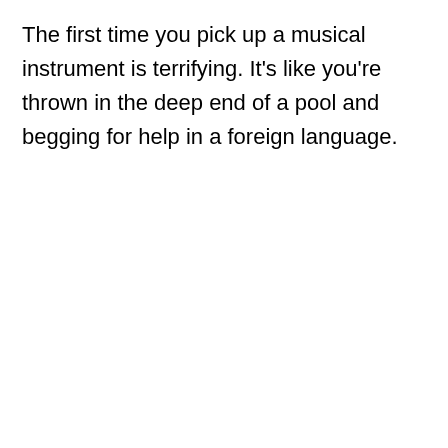The first time you pick up a musical instrument is terrifying. It's like you're thrown in the deep end of a pool and begging for help in a foreign language.